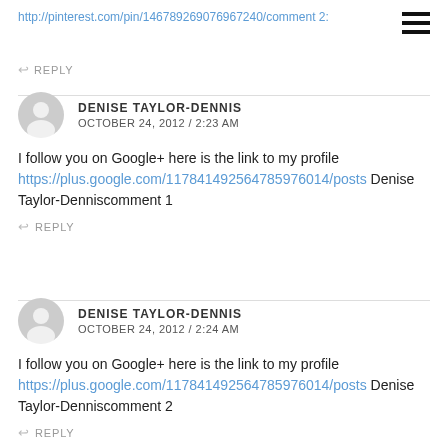http://pinterest.com/pin/146789269076967240/comment 2:
REPLY
DENISE TAYLOR-DENNIS
OCTOBER 24, 2012 / 2:23 AM
I follow you on Google+ here is the link to my profile https://plus.google.com/117841492564785976014/posts Denise Taylor-Denniscomment 1
REPLY
DENISE TAYLOR-DENNIS
OCTOBER 24, 2012 / 2:24 AM
I follow you on Google+ here is the link to my profile https://plus.google.com/117841492564785976014/posts Denise Taylor-Denniscomment 2
REPLY